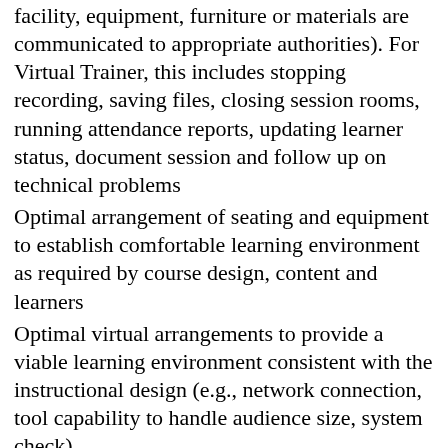facility, equipment, furniture or materials are communicated to appropriate authorities). For Virtual Trainer, this includes stopping recording, saving files, closing session rooms, running attendance reports, updating learner status, document session and follow up on technical problems
Optimal arrangement of seating and equipment to establish comfortable learning environment as required by course design, content and learners
Optimal virtual arrangements to provide a viable learning environment consistent with the instructional design (e.g., network connection, tool capability to handle audience size, system check)
Optimal organization of learner supplies